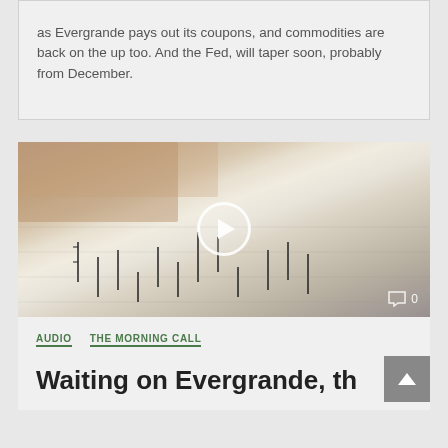as Evergrande pays out its coupons, and commodities are back on the up too. And the Fed, will taper soon, probably from December.
[Figure (photo): Stock chart paper with candlestick chart visible, with a play button overlay indicating a video, and a comment count of 0 in the bottom right corner.]
💬 0
AUDIO   THE MORNING CALL
Waiting on Evergrande, th